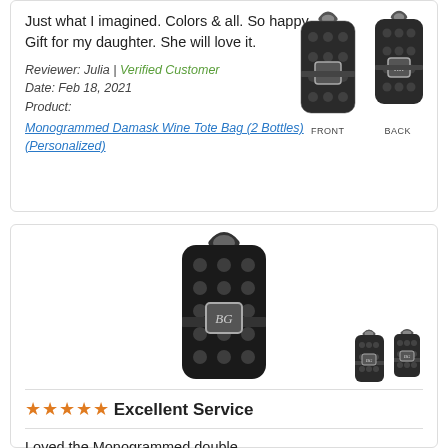Just what I imagined. Colors & all. So happy. Gift for my daughter. She will love it.
Reviewer: Julia | Verified Customer
Date: Feb 18, 2021
Product: Monogrammed Damask Wine Tote Bag (2 Bottles) (Personalized)
[Figure (photo): Product photo showing front and back of a black damask pattern wine tote bag with monogram]
★★★★★ Excellent Service
Loved the Monogrammed double
[Figure (photo): Large product photo of a black damask pattern double wine tote bag with monogram, and smaller front/back thumbnails]